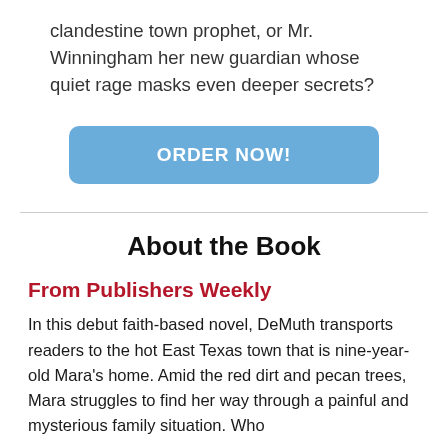clandestine town prophet, or Mr. Winningham her new guardian whose quiet rage masks even deeper secrets?
[Figure (other): Blue rounded rectangle button with white bold text ORDER NOW!]
About the Book
From Publishers Weekly
In this debut faith-based novel, DeMuth transports readers to the hot East Texas town that is nine-year-old Mara's home. Amid the red dirt and pecan trees, Mara struggles to find her way through a painful and mysterious family situation. Who